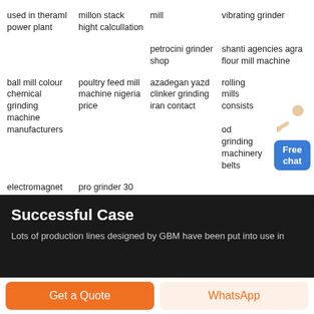used in theraml power plant
millon stack hight calcullation
mill
vibrating grinder
petrocini grinder shop
shanti agencies agra flour mill machine
ball mill colour chemical grinding machine manufacturers
poultry feed mill machine nigeria price
azadegan yazd clinker grinding iran contact
rolling mills consists
od grinding machinery belts
electromagnet for handling grinding balls
pro grinder 30 inch price
Successful Case
Lots of production lines designed by GBM have been put into use in
Get a Quote
WhatsApp